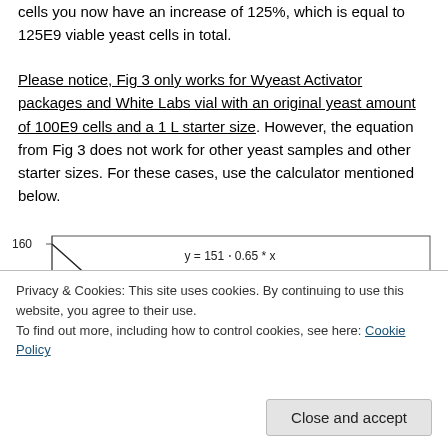cells you now have an increase of 125%, which is equal to 125E9 viable yeast cells in total.
Please notice, Fig 3 only works for Wyeast Activator packages and White Labs vial with an original yeast amount of 100E9 cells and a 1 L starter size. However, the equation from Fig 3 does not work for other yeast samples and other starter sizes. For these cases, use the calculator mentioned below.
[Figure (continuous-plot): Partial view of a line chart with y-axis values visible at 160 and 150 (and partially 110 at bottom). The equation y = 151 - 0.65 * x is shown in the chart area. A cookie consent banner overlays the lower portion of the chart.]
Privacy & Cookies: This site uses cookies. By continuing to use this website, you agree to their use.
To find out more, including how to control cookies, see here: Cookie Policy